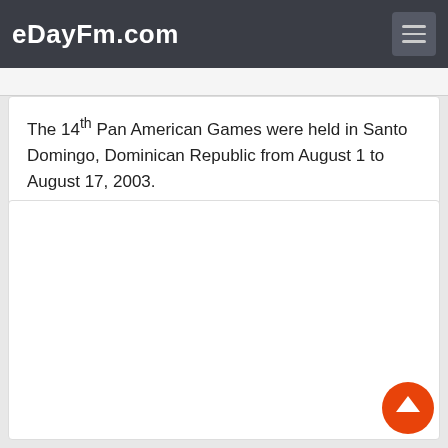eDayFm.com
The 14th Pan American Games were held in Santo Domingo, Dominican Republic from August 1 to August 17, 2003.